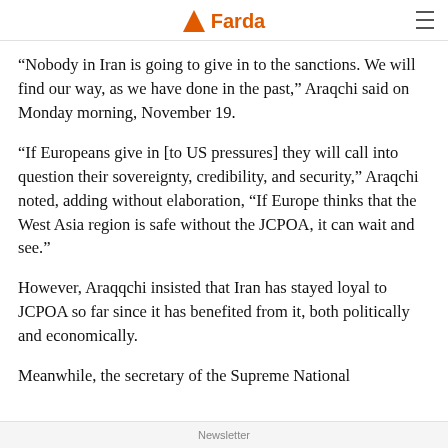Farda
“Nobody in Iran is going to give in to the sanctions. We will find our way, as we have done in the past,” Araqchi said on Monday morning, November 19.
"If Europeans give in [to US pressures] they will call into question their sovereignty, credibility, and security,” Araqchi noted, adding without elaboration, “If Europe thinks that the West Asia region is safe without the JCPOA, it can wait and see.”
However, Araqqchi insisted that Iran has stayed loyal to JCPOA so far since it has benefited from it, both politically and economically.
Meanwhile, the secretary of the Supreme National
Newsletter